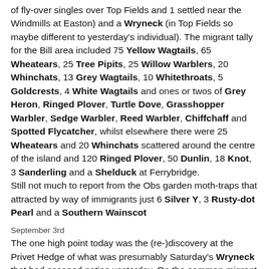of fly-over singles over Top Fields and 1 settled near the Windmills at Easton) and a Wryneck (in Top Fields so maybe different to yesterday's individual). The migrant tally for the Bill area included 75 Yellow Wagtails, 65 Wheatears, 25 Tree Pipits, 25 Willow Warblers, 20 Whinchats, 13 Grey Wagtails, 10 Whitethroats, 5 Goldcrests, 4 White Wagtails and ones or twos of Grey Heron, Ringed Plover, Turtle Dove, Grasshopper Warbler, Sedge Warbler, Reed Warbler, Chiffchaff and Spotted Flycatcher, whilst elsewhere there were 25 Wheatears and 20 Whinchats scattered around the centre of the island and 120 Ringed Plover, 50 Dunlin, 18 Knot, 3 Sanderling and a Shelduck at Ferrybridge.
Still not much to report from the Obs garden moth-traps that attracted by way of immigrants just 6 Silver Y, 3 Rusty-dot Pearl and a Southern Wainscot
September 3rd
The one high point today was the (re-)discovery at the Privet Hedge of what was presumably Saturday's Wryneck that had escaped notice yesterday. On the common migrant front it was a case of hoping that the day represented the low point of autumn as numbers couldn't really get any worse (in